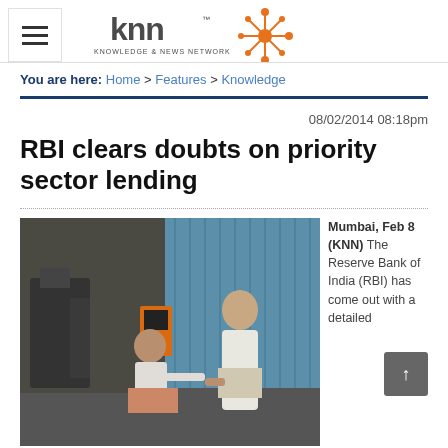[Figure (logo): KNN (Knowledge & News Network) logo in orange and dark grey with a starburst/network icon]
You are here: Home > Features > Knowledge
08/02/2014 08:18pm
RBI clears doubts on priority sector lending
[Figure (photo): Two workers in an industrial workshop, one crouching and one standing, working on machinery. Blue corrugated metal wall in background.]
Mumbai, Feb 8 (KNN) The Reserve Bank of India (RBI) has come out with a detailed